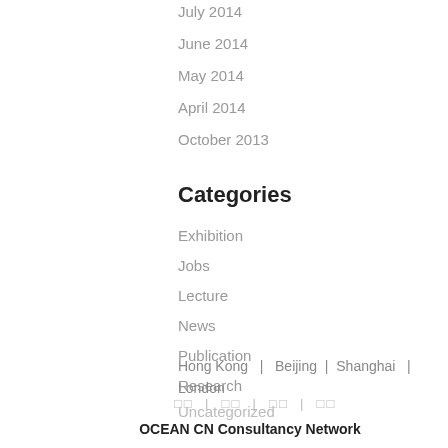July 2014
June 2014
May 2014
April 2014
October 2013
Categories
Exhibition
Jobs
Lecture
News
Publication
Research
Uncategorized
Hong Kong  |  Beijing  |  Shanghai  |  London
□□  |  □□  |  □□  |  □□
OCEAN CN Consultancy Network